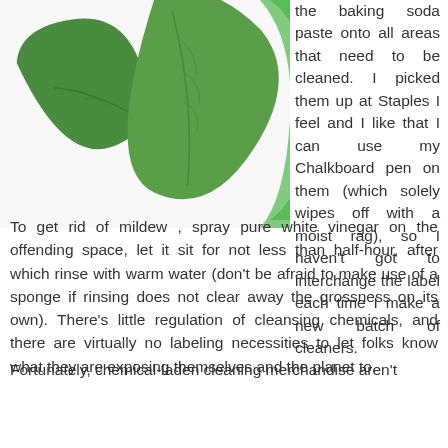[Figure (photo): Green leaves on a white background, with a partial green abstract shape on the right side]
the baking soda paste onto all areas that need to be cleaned. I picked them up at Staples I feel and I like that I can use my Chalkboard pen on them (which solely wipes off with a moist rag), so I haven't got to interchange the label each time I make a new batch of cleaners.
To get rid of mildew , spray pure white vinegar on the offending space, let it sit for not less than half-hour, after which rinse with warm water (don't be afraid to make use of a sponge if rinsing does not clear away the grossness on its own). There's little regulation of cleansing chemicals, and there are virtually no labeling necessities to let folks know what they are exposing themselves and the planet to.
Fortunately, chemical-laden cleaning merchandise aren't